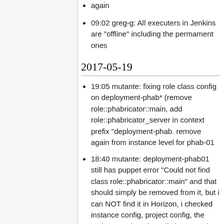again
09:02 greg-g: All executers in Jenkins are "offline" including the permament ones
2017-05-19
19:05 mutante: fixing role class config on deployment-phab* (remove role::phabricator::main, add role::phabricator_server in context prefix "deployment-phab. remove again from instance level for phab-01
18:40 mutante: deployment-phab01 still has puppet error "Could not find class role::phabricator::main" and that should simply be removed from it, but i can NOT find it in Horizon, i checked instance config, project config, the "Other" section, the "All classes" tab. Because it's gone. But